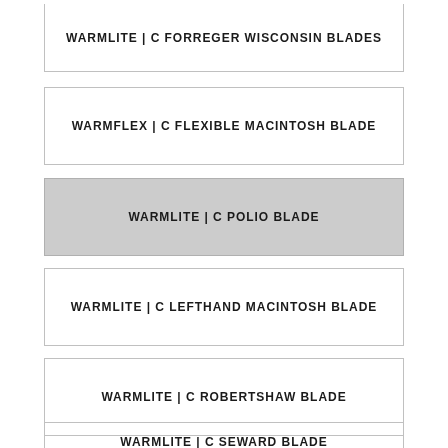WARMLITE | C FORREGER WISCONSIN BLADES
WARMFLEX | C FLEXIBLE MACINTOSH BLADE
WARMLITE | C POLIO BLADE
WARMLITE | C LEFTHAND MACINTOSH BLADE
WARMLITE | C ROBERTSHAW BLADE
WARMLITE | C SEWARD BLADE